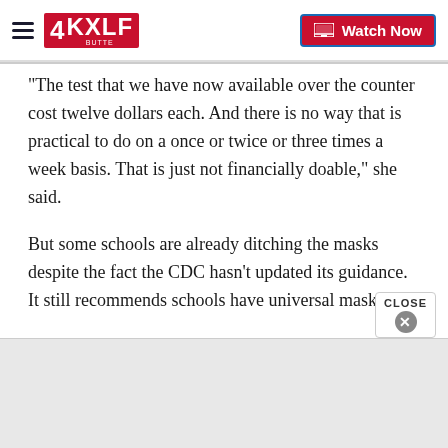4KXLF BUTTE | Watch Now
"The test that we have now available over the counter cost twelve dollars each. And there is no way that is practical to do on a once or twice or three times a week basis. That is just not financially doable," she said.
But some schools are already ditching the masks despite the fact the CDC hasn’t updated its guidance. It still recommends schools have universal masking.
Maryland Gov. Larry Hogan said kids shouldn’t have to wear masks or socially distance in schools this f-- because the state's virus positivity rates have dro...